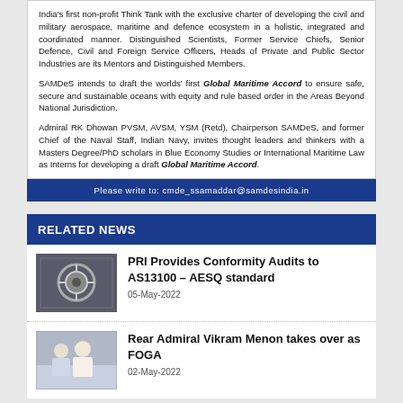India's first non-profit Think Tank with the exclusive charter of developing the civil and military aerospace, maritime and defence ecosystem in a holistic, integrated and coordinated manner. Distinguished Scientists, Former Service Chiefs, Senior Defence, Civil and Foreign Service Officers, Heads of Private and Public Sector Industries are its Mentors and Distinguished Members.
SAMDeS intends to draft the worlds' first Global Maritime Accord to ensure safe, secure and sustainable oceans with equity and rule based order in the Areas Beyond National Jurisdiction.
Admiral RK Dhowan PVSM, AVSM, YSM (Retd), Chairperson SAMDeS, and former Chief of the Naval Staff, Indian Navy, invites thought leaders and thinkers with a Masters Degree/PhD scholars in Blue Economy Studies or International Maritime Law as Interns for developing a draft Global Maritime Accord.
Please write to: cmde_ssamaddar@samdesindia.in
RELATED NEWS
PRI Provides Conformity Audits to AS13100 – AESQ standard
05-May-2022
Rear Admiral Vikram Menon takes over as FOGA
02-May-2022